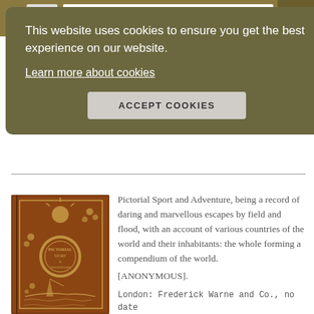[Figure (screenshot): Website cookie consent banner with dark olive-green background. Text reads: 'This website uses cookies to ensure you get the best experience on our website.' with a 'Learn more about cookies' link and an 'ACCEPT COOKIES' button.]
This website uses cookies to ensure you get the best experience on our website.
Learn more about cookies
ACCEPT COOKIES
[Figure (photo): Brown decorative book cover with ornate gilt designs showing 'Pictorial Sport and Adventure' title on a circular medallion, with floral motifs and a scene of a person in a boat.]
Pictorial Sport and Adventure, being a record of daring and marvellous escapes by field and flood, with an account of various countries of the world and their inhabitants: the whole forming a compendium of the world.
[ANONYMOUS].
London: Frederick Warne and Co., no date [1898]. [True Adventure and Hunting]. [EARLY